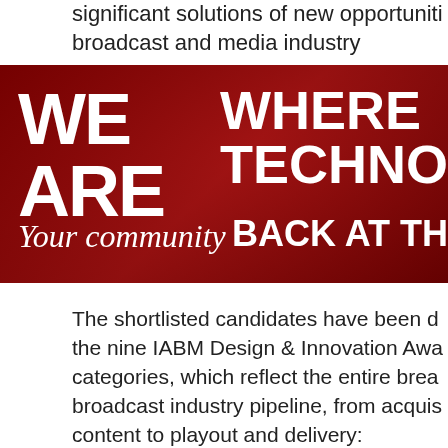significant solutions of new opportunities broadcast and media industry
[Figure (photo): Banner image with dark red/maroon background showing people. Text overlaid: 'WE ARE Your community WHERE TECHNO BACK AT TH']
The shortlisted candidates have been d the nine IABM Design & Innovation Awa categories, which reflect the entire brea broadcast industry pipeline, from acquis content to playout and delivery: